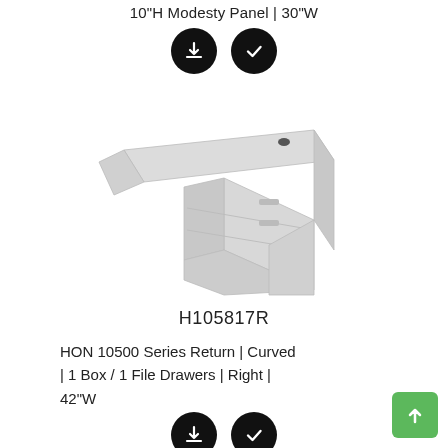10"H Modesty Panel | 30"W
[Figure (illustration): Two black circular buttons: a download arrow icon and a checkmark icon]
[Figure (photo): 3D rendering of a light grey office desk return with a curved top surface, a box drawer and file drawer pedestal on the right, and a panel base.]
H105817R
HON 10500 Series Return | Curved | 1 Box / 1 File Drawers | Right | 42"W
[Figure (illustration): Two black circular buttons partially visible at bottom: a download arrow icon and a checkmark icon]
[Figure (illustration): Green square scroll-to-top button with upward arrow in bottom right corner]